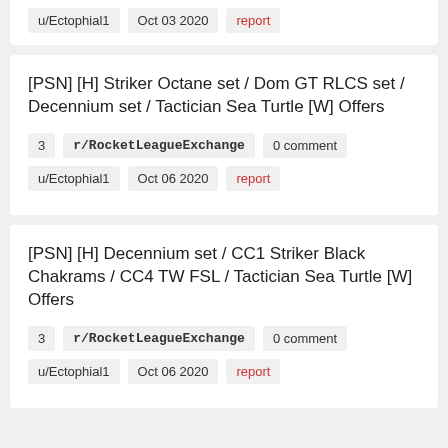u/Ectophial1   Oct 03 2020   report
[PSN] [H] Striker Octane set / Dom GT RLCS set / Decennium set / Tactician Sea Turtle [W] Offers
3   r/RocketLeagueExchange   0 comment
u/Ectophial1   Oct 06 2020   report
[PSN] [H] Decennium set / CC1 Striker Black Chakrams / CC4 TW FSL / Tactician Sea Turtle [W] Offers
3   r/RocketLeagueExchange   0 comment
u/Ectophial1   Oct 06 2020   report